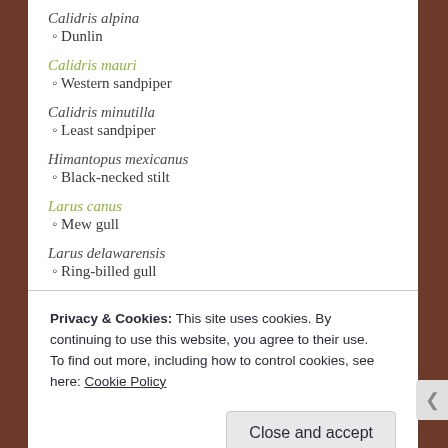Calidris alpina
◦ Dunlin
Calidris mauri
◦ Western sandpiper
Calidris minutilla
◦ Least sandpiper
Himantopus mexicanus
◦ Black-necked stilt
Larus canus
◦ Mew gull
Larus delawarensis
◦ Ring-billed gull
Privacy & Cookies: This site uses cookies. By continuing to use this website, you agree to their use.
To find out more, including how to control cookies, see here: Cookie Policy